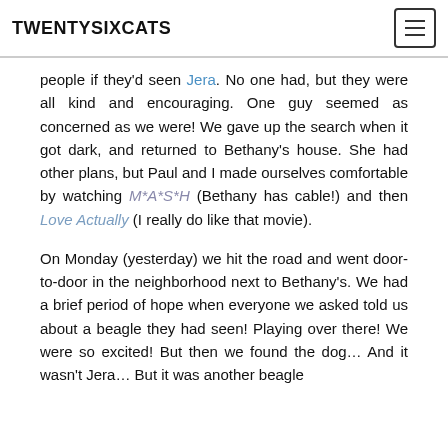TWENTYSIXCATS
people if they'd seen Jera. No one had, but they were all kind and encouraging. One guy seemed as concerned as we were! We gave up the search when it got dark, and returned to Bethany's house. She had other plans, but Paul and I made ourselves comfortable by watching M*A*S*H (Bethany has cable!) and then Love Actually (I really do like that movie).
On Monday (yesterday) we hit the road and went door-to-door in the neighborhood next to Bethany's. We had a brief period of hope when everyone we asked told us about a beagle they had seen! Playing over there! We were so excited! But then we found the dog… And it wasn't Jera… But it was another beagle